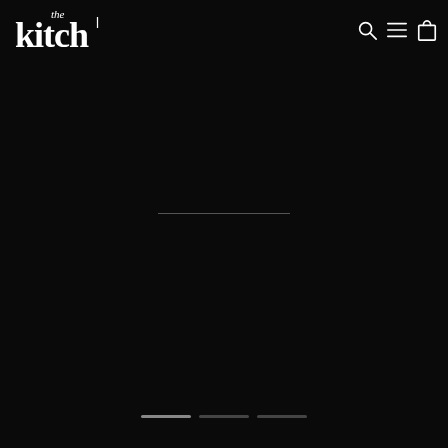the kitch - navigation header with logo, search, menu, and cart icons
[Figure (logo): The Kitch logo in white serif font on dark background]
[Figure (other): Dark/black full-page background with a faint horizontal divider line near the vertical center]
[Figure (other): Carousel navigation dots at the bottom: one active/bright dot followed by two inactive/dim dots]